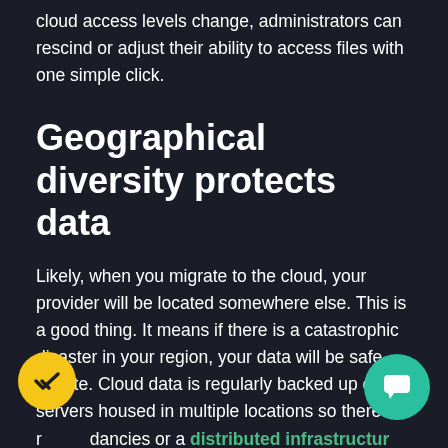cloud access levels change, administrators can rescind or adjust their ability to access files with one simple click.
Geographical diversity protects data
Likely, when you migrate to the cloud, your provider will be located somewhere else. This is a good thing. It means if there is a catastrophic disaster in your region, your data will be safe, off-site. Cloud data is regularly backed up on servers housed in multiple locations so there are redundancies or a distributed infrastructure. Also, a disaster at your location might mean the